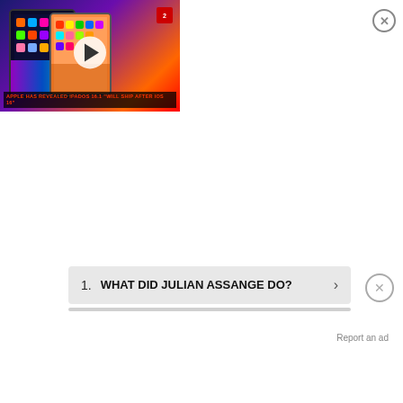[Figure (screenshot): Video thumbnail showing iPads with colorful home screens and a play button. Channel badge shows number 2. Video title reads: Apple: iPadOS 16.1 will ship after iOS 16. Lower third text: APPLE HAS REVEALED IPADOS 16.1 'WILL SHIP AFTER IOS 16']
1. WHAT DID JULIAN ASSANGE DO?
Report an ad
[Figure (screenshot): Disney Bundle advertisement banner showing hulu, Disney+, ESPN+ logos and GET THE DISNEY BUNDLE button. Fine print: Incl. Hulu (ad-supported) or Hulu (No Ads). Access content from each service separately. ©2021 Disney and its related entities]